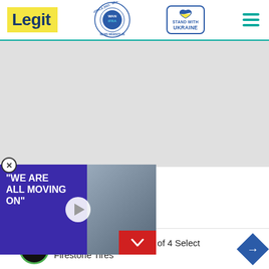Legit | WAN IFRA 2021 Best News Website in Africa | Stand With Ukraine
[Figure (screenshot): Gray advertisement placeholder area]
[Figure (screenshot): Video popup with quote 'WE ARE ALL MOVING ON' and a couple photo with play button]
[Figure (infographic): Advertisement banner: Get Up To $110 Off a Set of 4 Select Firestone Tires with Firestone auto logo and directional arrow]